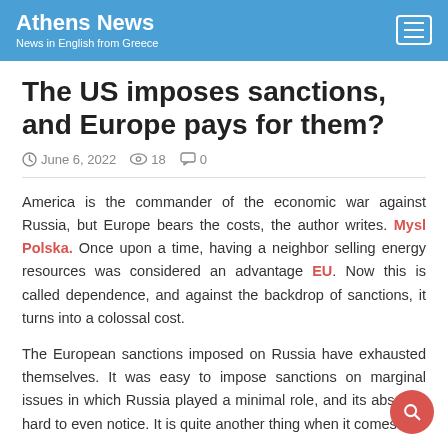Athens News — News in English from Greece
The US imposes sanctions, and Europe pays for them?
June 6, 2022  18  0
America is the commander of the economic war against Russia, but Europe bears the costs, the author writes. Mysl Polska. Once upon a time, having a neighbor selling energy resources was considered an advantage EU. Now this is called dependence, and against the backdrop of sanctions, it turns into a colossal cost.
The European sanctions imposed on Russia have exhausted themselves. It was easy to impose sanctions on marginal issues in which Russia played a minimal role, and its absence hard to even notice. It is quite another thing when it comes to